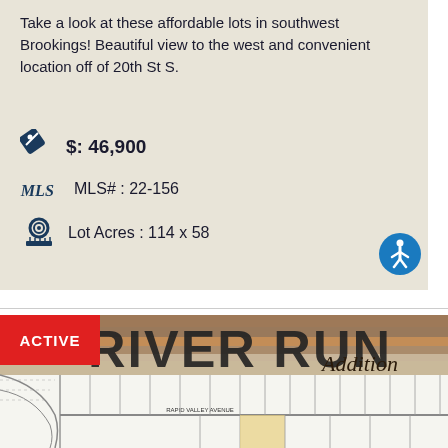Take a look at these affordable lots in southwest Brookings! Beautiful view to the west and convenient location off of 20th St S.
$: 46,900
MLS# : 22-156
Lot Acres : 114 x 58
[Figure (other): River Run Addition plat map showing subdivision lots along Rapid Valley Avenue with lot dimensions labeled]
ACTIVE